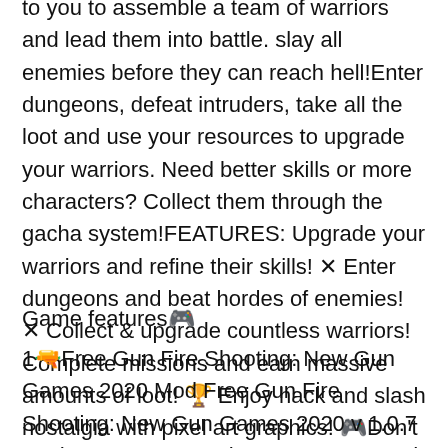to you to assemble a team of warriors and lead them into battle. slay all enemies before they can reach hell!Enter dungeons, defeat intruders, take all the loot and use your resources to upgrade your warriors. Need better skills or more characters? Collect them through the gacha system!FEATURES: Upgrade your warriors and refine their skills! ✕ Enter dungeons and beat hordes of enemies! ✕ Collect & upgrade countless warriors! Complete missions and earn massive amounts of loot! 🏆 Enjoy hack and slash nostalgia with pixel art graphics! 🎮Don't wait - download the game now and defend your kingdom in Idle Hero Slayer!&#;
Game features🎮
1🔫Free Gun Fire Shooting: New Gun Games 2020 Mod Free Gun Fire Shooting: New Gun Games 2020 v 1.0.7 Mod Features:Enter the game presented a lot of money--- Free Gun Fire Shooting: Gun Games ----This shooting game has the modern survive and commando survival scenarios. It is the new games 2020 with